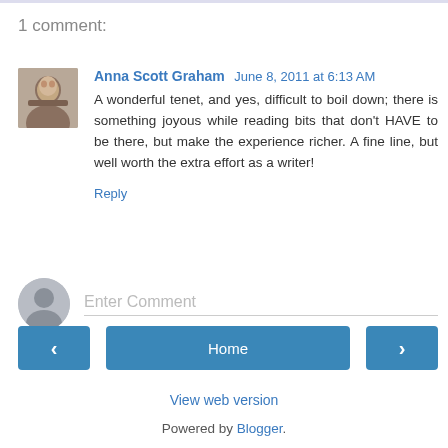1 comment:
Anna Scott Graham June 8, 2011 at 6:13 AM
A wonderful tenet, and yes, difficult to boil down; there is something joyous while reading bits that don't HAVE to be there, but make the experience richer. A fine line, but well worth the extra effort as a writer!
Reply
Enter Comment
Home
View web version
Powered by Blogger.